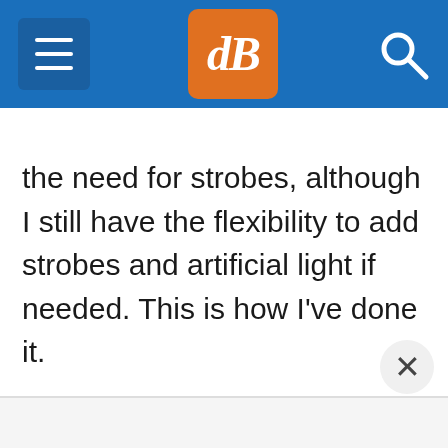dPS navigation header with hamburger menu, logo, and search icon
the need for strobes, although I still have the flexibility to add strobes and artificial light if needed. This is how I've done it.